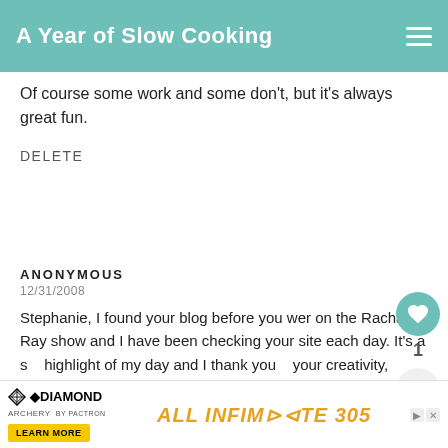A Year of Slow Cooking
Of course some work and some don't, but it's always great fun.
DELETE
ANONYMOUS
12/31/2008
Stephanie, I found your blog before you were on the Rachael Ray show and I have been checking your site each day. It's a s... highlight of my day and I thank you... your creativity, humor, and awesomeness. Thank you for a great year.
[Figure (infographic): What's Next promo with CrockPot Hamburger image]
[Figure (infographic): Diamond Archery advertisement banner with Infinite 305 product]